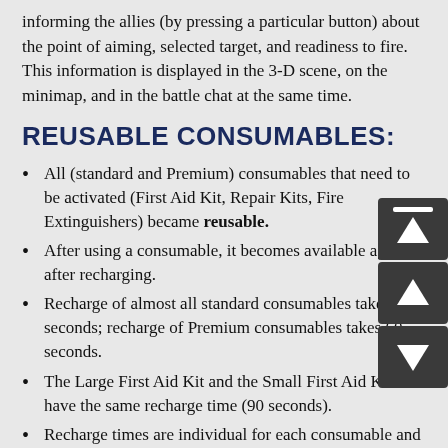informing the allies (by pressing a particular button) about the point of aiming, selected target, and readiness to fire. This information is displayed in the 3-D scene, on the minimap, and in the battle chat at the same time.
REUSABLE CONSUMABLES:
All (standard and Premium) consumables that need to be activated (First Aid Kit, Repair Kits, Fire Extinguishers) became reusable.
After using a consumable, it becomes available again after recharging.
Recharge of almost all standard consumables takes 90 seconds; recharge of Premium consumables takes 60 seconds.
The Large First Aid Kit and the Small First Aid Kit have the same recharge time (90 seconds).
Recharge times are individual for each consumable and do not depend on other equipped consumables.
If a consumable is used at least once in a battle, a new one will have to be purchased, just as before.